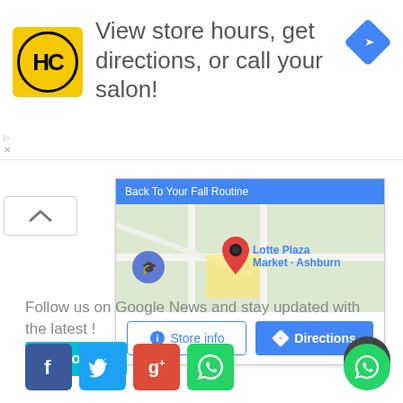[Figure (screenshot): Advertisement banner with HC salon logo, text 'View store hours, get directions, or call your salon!' and a blue navigation diamond icon]
[Figure (screenshot): Map widget showing Google Maps embed with Lotte Plaza Market - Ashburn location marker, blue banner 'Back To Your Fall Routine', Store info button, and Directions button]
Follow us on Google News and stay updated with the latest !
[Figure (screenshot): Google+ Follow button in blue]
[Figure (screenshot): Social media icons: Facebook, Twitter, Google+, WhatsApp]